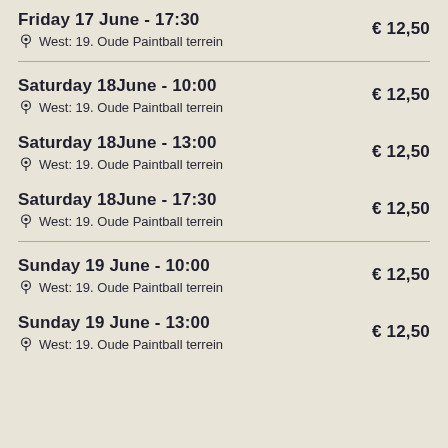Friday 17 June - 17:30
West: 19. Oude Paintball terrein
€ 12,50
Saturday 18 June - 10:00
West: 19. Oude Paintball terrein
€ 12,50
Saturday 18 June - 13:00
West: 19. Oude Paintball terrein
€ 12,50
Saturday 18 June - 17:30
West: 19. Oude Paintball terrein
€ 12,50
Sunday 19 June - 10:00
West: 19. Oude Paintball terrein
€ 12,50
Sunday 19 June - 13:00
West: 19. Oude Paintball terrein
€ 12,50